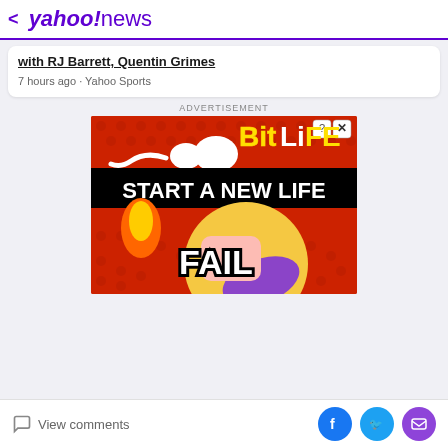< yahoo!news
with RJ Barrett, Quentin Grimes
7 hours ago · Yahoo Sports
ADVERTISEMENT
[Figure (illustration): BitLife game advertisement. Red background with polka dots. White sperm cell logo, BitLife logo in yellow and white text. Black banner reading START A NEW LIFE. Cartoon blonde girl facepalming with FAIL text overlay.]
View comments
[Figure (logo): Facebook, Twitter, and email social share icons at bottom right]